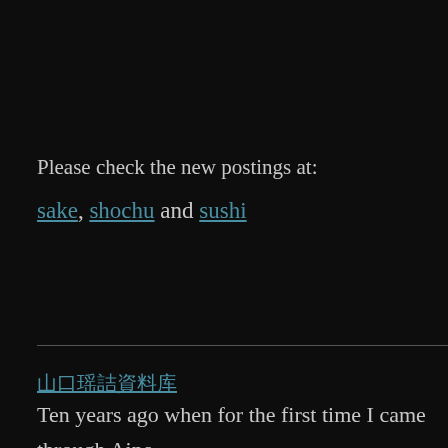Please check the new postings at:
sake, shochu and sushi
（日本語）
Ten years ago when for the first time I came through Aino,